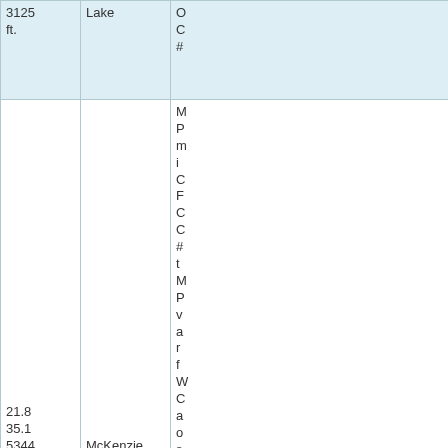| Miles/km/Elev | Landmark | Description |
| --- | --- | --- |
| 3125 ft. | Lake | O... C... #... |
| 21.8
35.1
5344 ft. | McKenzie Pass | M P m i C F C C # t M P v a r f W C a o s w |